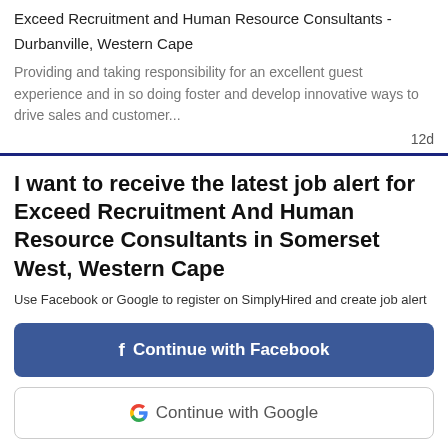Exceed Recruitment and Human Resource Consultants -
Durbanville, Western Cape
Providing and taking responsibility for an excellent guest experience and in so doing foster and develop innovative ways to drive sales and customer...
12d
I want to receive the latest job alert for Exceed Recruitment And Human Resource Consultants in Somerset West, Western Cape
Use Facebook or Google to register on SimplyHired and create job alert
Continue with Facebook
Continue with Google